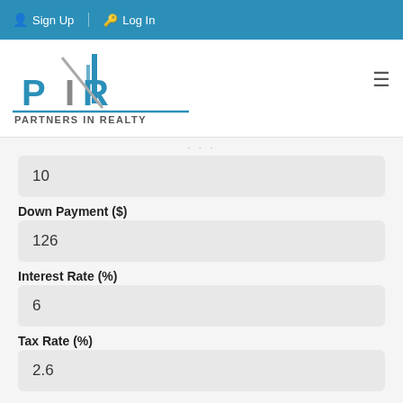Sign Up  Log In
[Figure (logo): Partners In Realty logo with blue stylized PIR letters and building graphic, text PARTNERS IN REALTY below]
10
Down Payment ($)
126
Interest Rate (%)
6
Tax Rate (%)
2.6